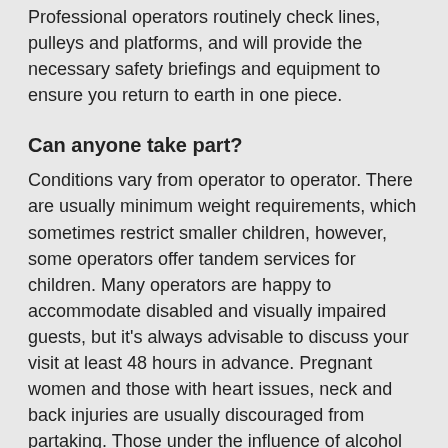Professional operators routinely check lines, pulleys and platforms, and will provide the necessary safety briefings and equipment to ensure you return to earth in one piece.
Can anyone take part?
Conditions vary from operator to operator. There are usually minimum weight requirements, which sometimes restrict smaller children, however, some operators offer tandem services for children. Many operators are happy to accommodate disabled and visually impaired guests, but it's always advisable to discuss your visit at least 48 hours in advance. Pregnant women and those with heart issues, neck and back injuries are usually discouraged from partaking. Those under the influence of alcohol or illicit drugs will be politely turned away.
What should I bring?
Solid closed-toe shoes are always advisable, especially on the outdoor canopy courses. Dress for comfort and with the weather in mind; at certain elevations, the weather can be more extreme than at ground level. Unless they are keen on an extended Marilyn Monroe moment, women are advised against wearing skirts and dresses. Long hair should always